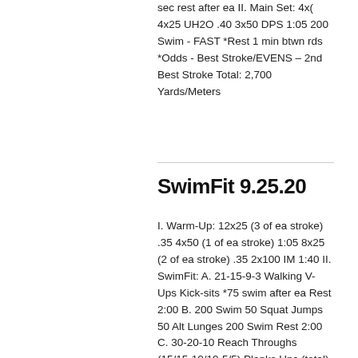sec rest after ea II. Main Set: 4x( 4x25 UH2O .40 3x50 DPS 1:05 200 Swim - FAST *Rest 1 min btwn rds *Odds - Best Stroke/EVENS - 2nd Best Stroke Total: 2,700 Yards/Meters
SwimFit 9.25.20
I. Warm-Up: 12x25 (3 of ea stroke) .35 4x50 (1 of ea stroke) 1:05 8x25 (2 of ea stroke) .35 2x100 IM 1:40 II. SwimFit: A. 21-15-9-3 Walking V-Ups Kick-sits *75 swim after ea Rest 2:00 B. 200 Swim 50 Squat Jumps 50 Alt Lunges 200 Swim Rest 2:00 C. 30-20-10 Reach Throughs (15/15-10/10-5/5) Planks Ups (total) *100 Swim After ea rd Total: 1,900 Yards/Meters